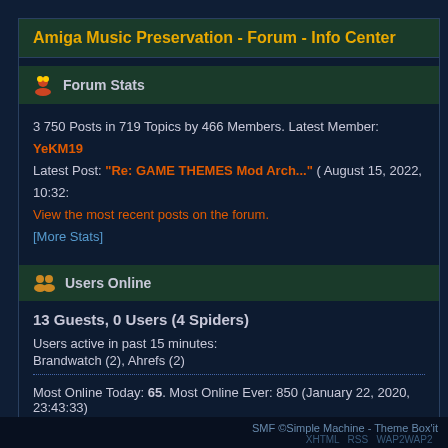Amiga Music Preservation - Forum - Info Center
Forum Stats
3 750 Posts in 719 Topics by 466 Members. Latest Member: YeKM19 Latest Post: "Re: GAME THEMES Mod Arch..." ( August 15, 2022, 10:32: View the most recent posts on the forum. [More Stats]
Users Online
13 Guests, 0 Users (4 Spiders)
Users active in past 15 minutes:
Brandwatch (2), Ahrefs (2)
Most Online Today: 65. Most Online Ever: 850 (January 22, 2020, 23:43:33)
SMF ©Simple Machine - Theme Box'it